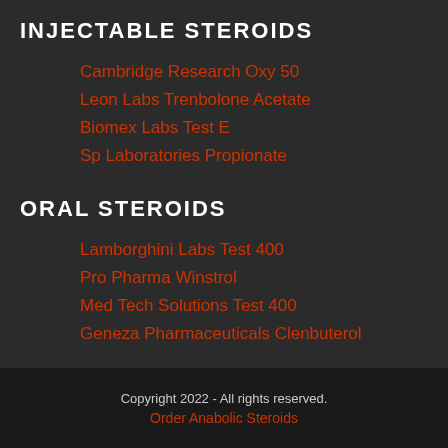INJECTABLE STEROIDS
Cambridge Research Oxy 50
Leon Labs Trenbolone Acetate
Biomex Labs Test E
Sp Laboratories Propionate
ORAL STEROIDS
Lamborghini Labs Test 400
Pro Pharma Winstrol
Med Tech Solutions Test 400
Geneza Pharmaceuticals Clenbuterol
Copyright 2022 - All rights reserved.
Order Anabolic Steroids